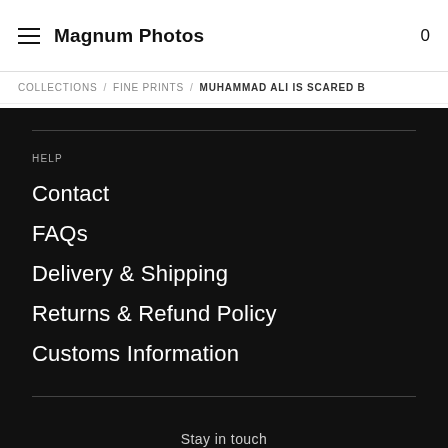Magnum Photos
COLLECTIONS / FINE PRINTS / MUHAMMAD ALI IS SCARED B
HELP
Contact
FAQs
Delivery & Shipping
Returns & Refund Policy
Customs Information
Stay in touch